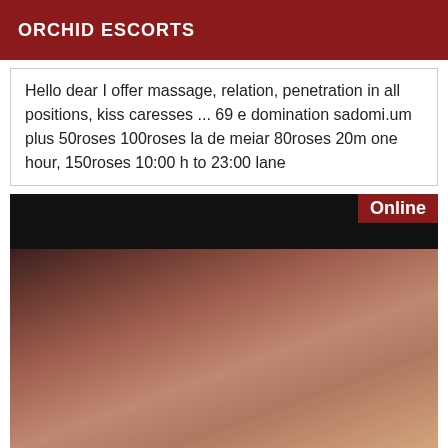ORCHID ESCORTS
Hello dear I offer massage, relation, penetration in all positions, kiss caresses ... 69 e domination sadomi.um plus 50roses 100roses la de meiar 80roses 20m one hour, 150roses 10:00 h to 23:00 lane
[Figure (photo): Adult escort listing photo showing nudity, with red 'Online' badge in top right corner]